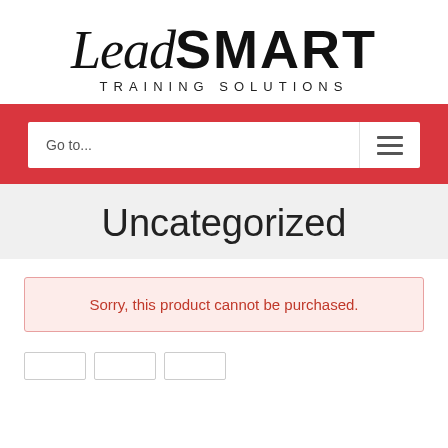[Figure (logo): LeadSMART Training Solutions logo — 'Lead' in italic serif, 'SMART' in bold sans-serif uppercase, subtitle 'TRAINING SOLUTIONS' in spaced uppercase sans-serif]
Go to...
Uncategorized
Sorry, this product cannot be purchased.